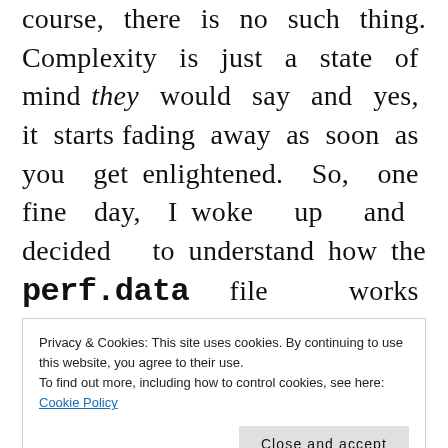course, there is no such thing. Complexity is just a state of mind they would say and yes, it starts fading away as soon as you get enlightened. So, one fine day, I woke up and decided to understand how the perf.data file works because I wanted to extract the Intel PT binary data from it. I approached Francis and we started off on an amazing
Privacy & Cookies: This site uses cookies. By continuing to use this website, you agree to their use.
To find out more, including how to control cookies, see here: Cookie Policy
A Gentle Intro to Perf